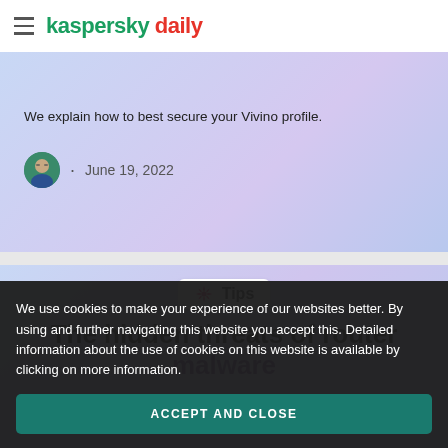kaspersky daily
We explain how to best secure your Vivino profile.
June 19, 2022
Tips
The hidden threats of router malware
We use cookies to make your experience of our websites better. By using and further navigating this website you accept this. Detailed information about the use of cookies on this website is available by clicking on more information.
ACCEPT AND CLOSE